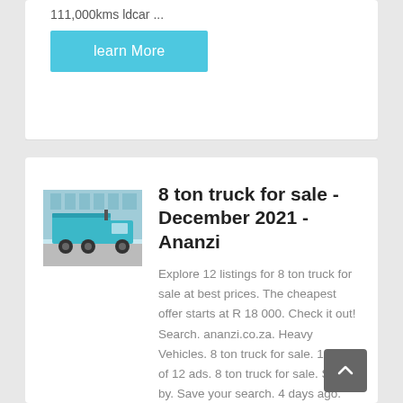111,000kms ldcar ...
learn More
[Figure (photo): A teal/turquoise dump truck photographed from the rear-left side, parked in front of a glass building.]
8 ton truck for sale - December 2021 - Ananzi
Explore 12 listings for 8 ton truck for sale at best prices. The cheapest offer starts at R 18 000. Check it out! Search. ananzi.co.za. Heavy Vehicles. 8 ton truck for sale. 1 - 12 of 12 ads. 8 ton truck for sale. Sort by. Save your search. 4 days ago. 2008 Nissan ud80 8 ton truck up for sale